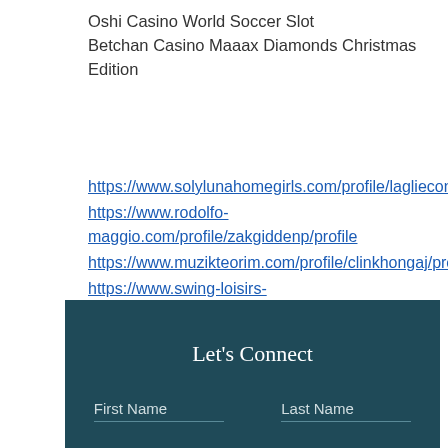Oshi Casino World Soccer Slot
Betchan Casino Maaax Diamonds Christmas Edition
https://www.solylunahomegirls.com/profile/lagliecondey/profile
https://www.rodolfo-maggio.com/profile/zakgiddenp/profile
https://www.muzikteorim.com/profile/clinkhongaj/profile
https://www.swing-loisirs-animations.com/profile/wesermorawac/profile
Let's Connect
First Name    Last Name